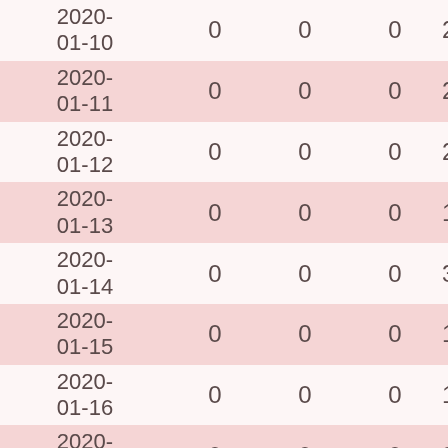| Date | Col1 | Col2 | Col3 | Col4 |
| --- | --- | --- | --- | --- |
| 2020-01-10 | 0 | 0 | 0 | 2… |
| 2020-01-11 | 0 | 0 | 0 | 2… |
| 2020-01-12 | 0 | 0 | 0 | 2… |
| 2020-01-13 | 0 | 0 | 0 | 15… |
| 2020-01-14 | 0 | 0 | 0 | 3… |
| 2020-01-15 | 0 | 0 | 0 | 1… |
| 2020-01-16 | 0 | 0 | 0 | 1… |
| 2020-01-17 | 0 | 0 | 0 | 3… |